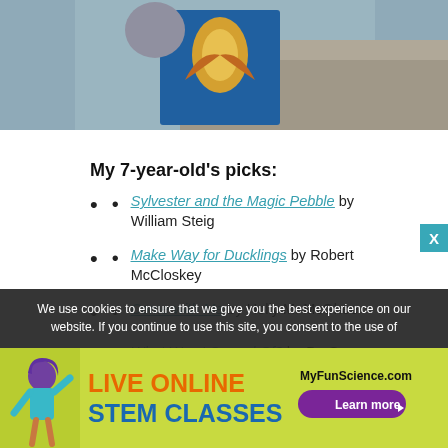[Figure (photo): Partial photo of a child holding a book with illustrated cover showing a deer/phoenix, outdoors near rocks]
My 7-year-old's picks:
Sylvester and the Magic Pebble by William Steig
Make Way for Ducklings by Robert McCloskey
Come with Me by Holly M. McGhee
What Was I Scared Of? by Dr. Seuss
[partially visible] by Peter Bently
We use cookies to ensure that we give you the best experience on our website. If you continue to use this site, you consent to the use of
[Figure (infographic): Advertisement banner for MyFunScience.com: Live Online STEM Classes with Learn more button and illustrated figure of a girl]